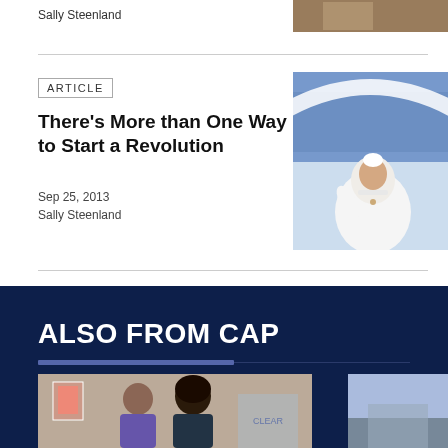Sally Steenland
[Figure (photo): Small photo of person at top right, partially visible]
ARTICLE
There's More than One Way to Start a Revolution
Sep 25, 2013
Sally Steenland
[Figure (photo): Photo of Pope Francis in white robes waving, with crowd in background]
ALSO FROM CAP
[Figure (photo): Photo of two people in an office or indoor setting]
[Figure (photo): Partial photo on right side, appears to be sky or outdoor setting]